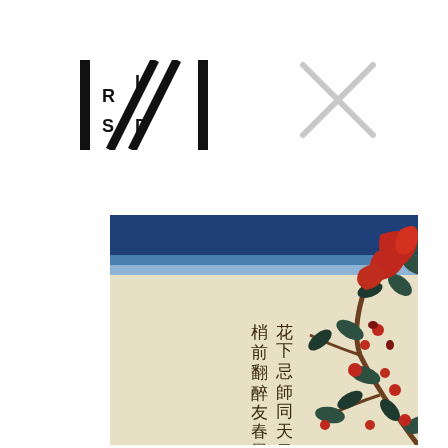[Figure (logo): RISD museum logo — black geometric mark with letters R, I, S, D and diagonal slash lines]
[Figure (illustration): Light grey X mark / cross symbol]
[Figure (photo): Japanese woodblock print showing a branch with red flowers and dark green leaves against a cream background with blue sky band at top, accompanied by vertical Japanese calligraphy text]